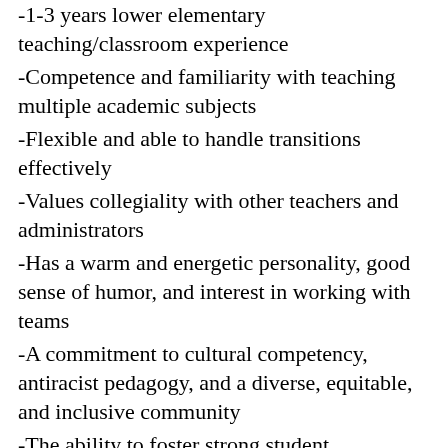-1-3 years lower elementary teaching/classroom experience
-Competence and familiarity with teaching multiple academic subjects
-Flexible and able to handle transitions effectively
-Values collegiality with other teachers and administrators
-Has a warm and energetic personality, good sense of humor, and interest in working with teams
-A commitment to cultural competency, antiracist pedagogy, and a diverse, equitable, and inclusive community
-The ability to foster strong student